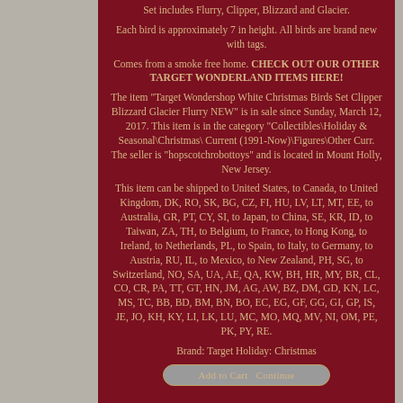Set includes Flurry, Clipper, Blizzard and Glacier.
Each bird is approximately 7 in height. All birds are brand new with tags.
Comes from a smoke free home. CHECK OUT OUR OTHER TARGET WONDERLAND ITEMS HERE!
The item "Target Wondershop White Christmas Birds Set Clipper Blizzard Glacier Flurry NEW" is in sale since Sunday, March 12, 2017. This item is in the category "Collectibles\Holiday & Seasonal\Christmas\ Current (1991-Now)\Figures\Other Curr. The seller is "hopscotchrobottoys" and is located in Mount Holly, New Jersey.
This item can be shipped to United States, to Canada, to United Kingdom, DK, RO, SK, BG, CZ, FI, HU, LV, LT, MT, EE, to Australia, GR, PT, CY, SI, to Japan, to China, SE, KR, ID, to Taiwan, ZA, TH, to Belgium, to France, to Hong Kong, to Ireland, to Netherlands, PL, to Spain, to Italy, to Germany, to Austria, RU, IL, to Mexico, to New Zealand, PH, SG, to Switzerland, NO, SA, UA, AE, QA, KW, BH, HR, MY, BR, CL, CO, CR, PA, TT, GT, HN, JM, AG, AW, BZ, DM, GD, KN, LC, MS, TC, BB, BD, BM, BN, BO, EC, EG, GF, GG, GI, GP, IS, JE, JO, KH, KY, LI, LK, LU, MC, MO, MQ, MV, NI, OM, PE, PK, PY, RE.
Brand: Target Holiday: Christmas